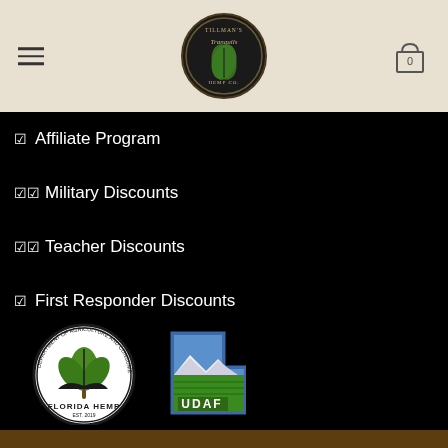Tillman's Tranquils Hemp Co. — navigation header with hamburger menu and cart
☑ Affiliate Program
☑☑ Military Discounts
☑☑ Teacher Discounts
☑ First Responder Discounts
☑ Student Discounts
[Figure (logo): Florida Hemp Department of Agriculture and Consumer Services seal with cannabis leaf, EST. 2019]
[Figure (logo): UDAF Utah Department of Agriculture and Food logo with Utah state shape and mountain landscape]